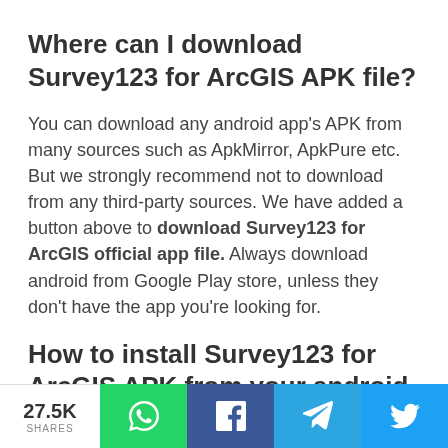Where can I download Survey123 for ArcGIS APK file?
You can download any android app's APK from many sources such as ApkMirror, ApkPure etc. But we strongly recommend not to download from any third-party sources. We have added a button above to download Survey123 for ArcGIS official app file. Always download android from Google Play store, unless they don't have the app you're looking for.
How to install Survey123 for ArcGIS APK from your android